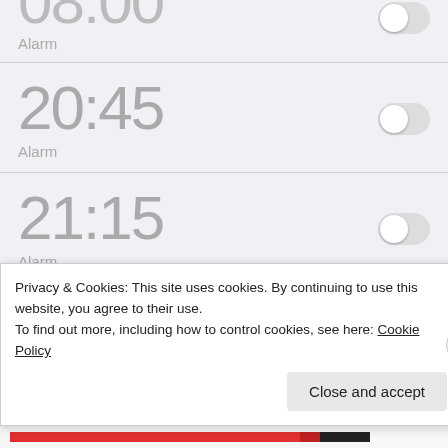[Figure (screenshot): Partial alarm entry at top, time cut off, label Alarm]
Alarm
20:45
Alarm
21:15
Alarm
Privacy & Cookies: This site uses cookies. By continuing to use this website, you agree to their use.
To find out more, including how to control cookies, see here: Cookie Policy
Close and accept